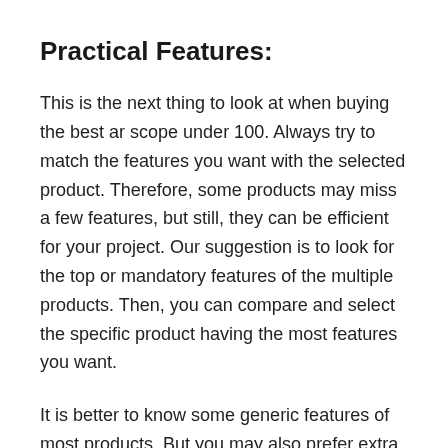Practical Features:
This is the next thing to look at when buying the best ar scope under 100. Always try to match the features you want with the selected product. Therefore, some products may miss a few features, but still, they can be efficient for your project. Our suggestion is to look for the top or mandatory features of the multiple products. Then, you can compare and select the specific product having the most features you want.
It is better to know some generic features of most products. But you may also prefer extra or unique features for better satisfaction. Thus, we have